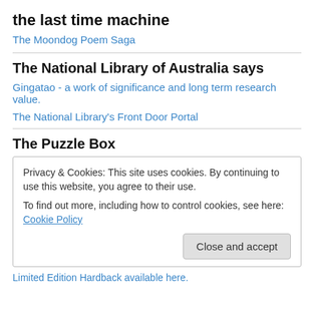the last time machine
The Moondog Poem Saga
The National Library of Australia says
Gingatao - a work of significance and long term research value.
The National Library's Front Door Portal
The Puzzle Box
Privacy & Cookies: This site uses cookies. By continuing to use this website, you agree to their use. To find out more, including how to control cookies, see here: Cookie Policy
Close and accept
Limited Edition Hardback available here.